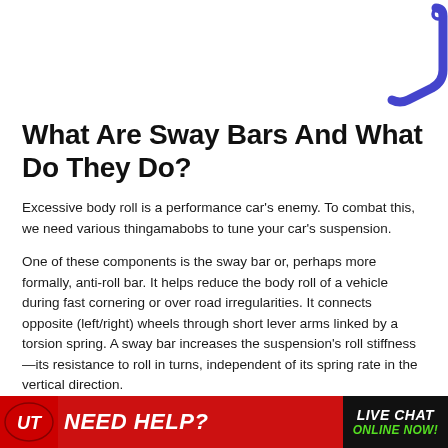[Figure (photo): Blue/purple sway bar (anti-roll bar) component shown in top-right corner, U-shaped metal bar]
What Are Sway Bars And What Do They Do?
Excessive body roll is a performance car's enemy. To combat this, we need various thingamabobs to tune your car's suspension.
One of these components is the sway bar or, perhaps more formally, anti-roll bar. It helps reduce the body roll of a vehicle during fast cornering or over road irregularities. It connects opposite (left/right) wheels through short lever arms linked by a torsion spring. A sway bar increases the suspension's roll stiffness—its resistance to roll in turns, independent of its spring rate in the vertical direction.
Meanwhile, body roll happe... As your car begins to turn, its weig...
[Figure (logo): UT (Unique Tuning) logo banner at bottom with red background, NEED HELP? text in white, LIVE CHAT ONLINE NOW! in green on black background]